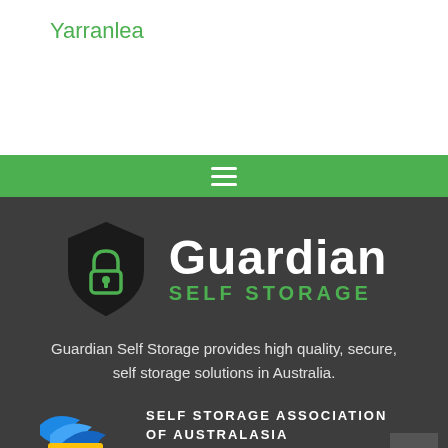Yarranlea
[Figure (logo): Guardian Self Storage logo with shield icon containing green padlock, bold white 'Guardian' text and green 'SELF STORAGE' text]
Guardian Self Storage provides high quality, secure, self storage solutions in Australia.
[Figure (logo): Self Storage Association of Australasia Member logo with blue and yellow SA icon and globe]
[Figure (logo): Queensland's Best badge - circular gold/tan badge partially visible at bottom]